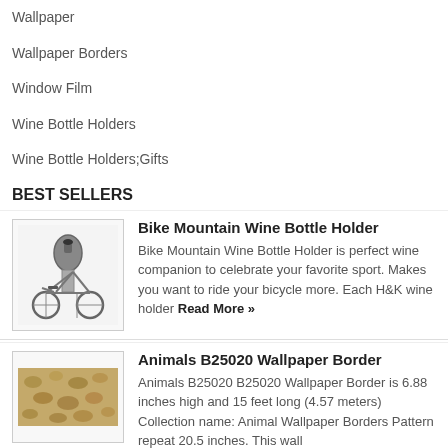Wallpaper
Wallpaper Borders
Window Film
Wine Bottle Holders
Wine Bottle Holders;Gifts
BEST SELLERS
[Figure (photo): Bike Mountain Wine Bottle Holder product image showing a metal bicycle-shaped wine bottle holder]
Bike Mountain Wine Bottle Holder
Bike Mountain Wine Bottle Holder is perfect wine companion to celebrate your favorite sport. Makes you want to ride your bicycle more. Each H&K wine holder Read More »
[Figure (photo): Animals B25020 Wallpaper Border product image showing a textured animal print strip]
Animals B25020 Wallpaper Border
Animals B25020 B25020 Wallpaper Border is 6.88 inches high and 15 feet long (4.57 meters) Collection name: Animal Wallpaper Borders Pattern repeat 20.5 inches. This wall
Read More »